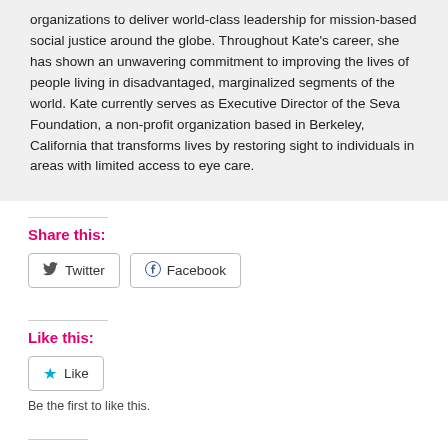organizations to deliver world-class leadership for mission-based social justice around the globe. Throughout Kate's career, she has shown an unwavering commitment to improving the lives of people living in disadvantaged, marginalized segments of the world. Kate currently serves as Executive Director of the Seva Foundation, a non-profit organization based in Berkeley, California that transforms lives by restoring sight to individuals in areas with limited access to eye care.
Share this:
Twitter  Facebook
Like this:
Like  Be the first to like this.
Related
[Figure (photo): Two people photo thumbnail]
[Figure (photo): Crowd or group photo thumbnail]